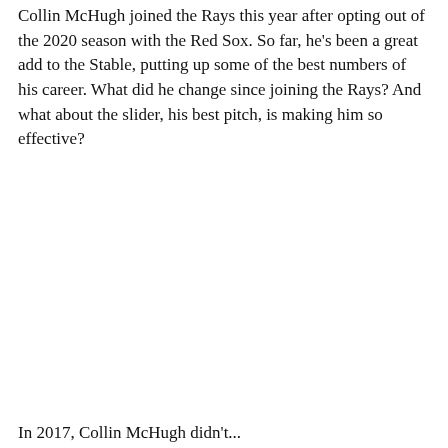Collin McHugh joined the Rays this year after opting out of the 2020 season with the Red Sox. So far, he's been a great add to the Stable, putting up some of the best numbers of his career. What did he change since joining the Rays? And what about the slider, his best pitch, is making him so effective?
In 2017, Collin McHugh didn't...